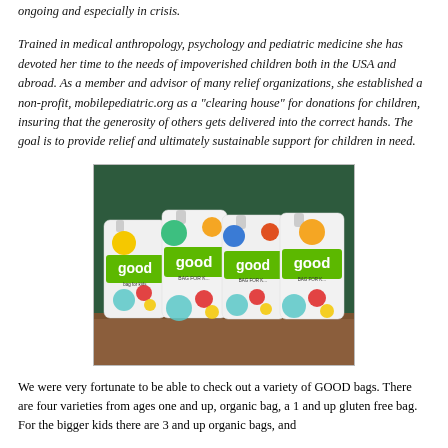ongoing and especially in crisis.
Trained in medical anthropology, psychology and pediatric medicine she has devoted her time to the needs of impoverished children both in the USA and abroad. As a member and advisor of many relief organizations, she established a non-profit, mobilepediatric.org as a "clearing house" for donations for children, insuring that the generosity of others gets delivered into the correct hands. The goal is to provide relief and ultimately sustainable support for children in need.
[Figure (photo): Four white pouches of 'good bag for kids' product arranged in a row on a wooden surface against a dark green background, each featuring colorful circular logos and illustrated characters.]
We were very fortunate to be able to check out a variety of GOOD bags. There are four varieties from ages one and up, organic bag, a 1 and up gluten free bag. For the bigger kids there are 3 and up organic bags, and